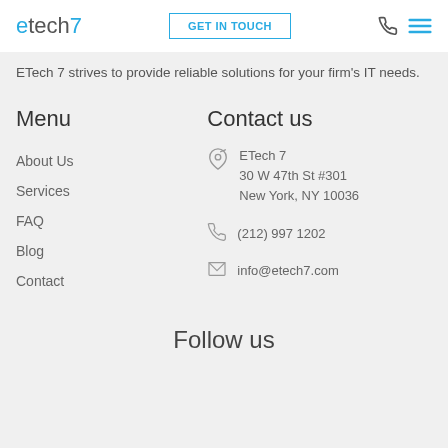etech7 | GET IN TOUCH
ETech 7 strives to provide reliable solutions for your firm's IT needs.
Menu
Contact us
About Us
Services
FAQ
Blog
Contact
ETech 7
30 W 47th St #301
New York, NY 10036
(212) 997 1202
info@etech7.com
Follow us